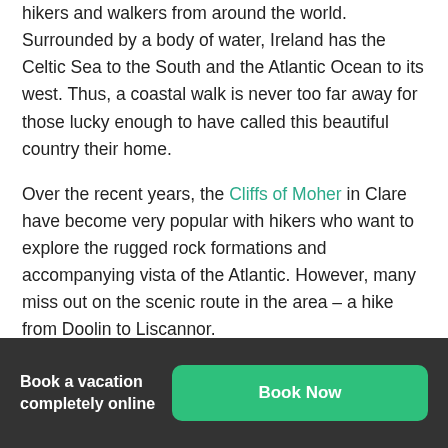hikers and walkers from around the world. Surrounded by a body of water, Ireland has the Celtic Sea to the South and the Atlantic Ocean to its west. Thus, a coastal walk is never too far away for those lucky enough to have called this beautiful country their home.
Over the recent years, the Cliffs of Moher in Clare have become very popular with hikers who want to explore the rugged rock formations and accompanying vista of the Atlantic. However, many miss out on the scenic route in the area – a hike from Doolin to Liscannor.
Book a vacation completely online | Book Now